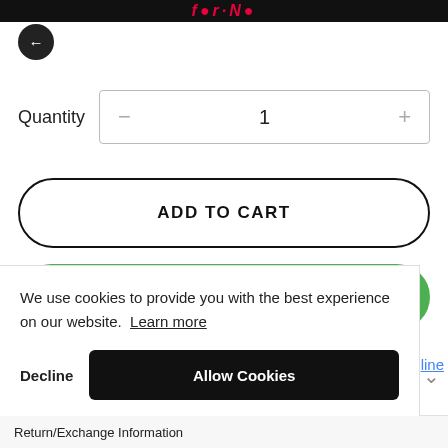Logo / brand header bar
Quantity  −  1  +
ADD TO CART
BUY IT NOW
We use cookies to provide you with the best experience on our website.  Learn more
Decline
Allow Cookies
Return/Exchange Information